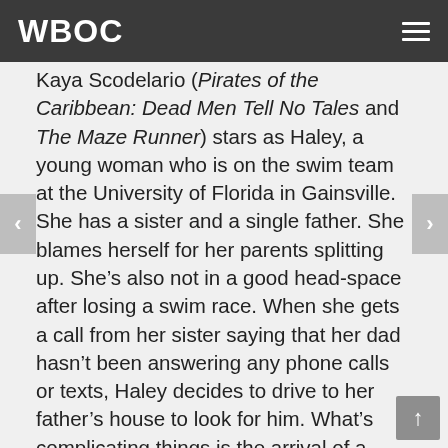WBOC
Kaya Scodelario (Pirates of the Caribbean: Dead Men Tell No Tales and The Maze Runner) stars as Haley, a young woman who is on the swim team at the University of Florida in Gainsville. She has a sister and a single father. She blames herself for her parents splitting up. She's also not in a good head-space after losing a swim race. When she gets a call from her sister saying that her dad hasn't been answering any phone calls or texts, Haley decides to drive to her father's house to look for him. What's complicating things is the arrival of a Category-5 hurricane. Not only does she have to brave the high wind and flooding but she also has to brave an influx of large alligators that the storm has brought, which makes this not Sharknado, but "Alligator-cane."